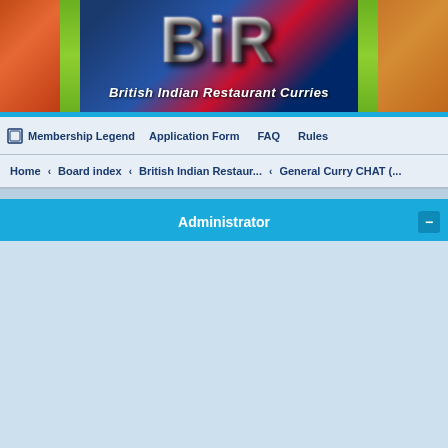[Figure (illustration): British Indian Restaurant Curries banner with BIR logo, UK flag motif, Taj Mahal image, and food photography (curry dishes on left and right sides). Text reads 'British Indian Restaurant Curries'.]
Membership Legend   Application Form   FAQ   Rules
Home › Board index › British Indian Restaur... › General Curry CHAT (...
Administrator